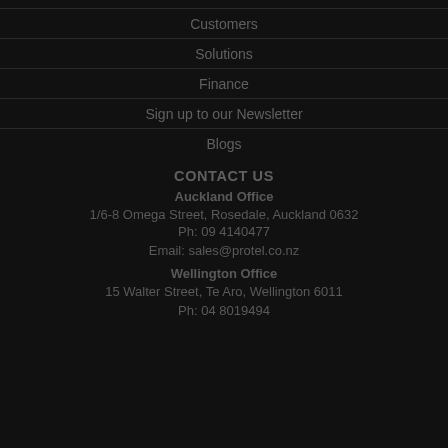Customers
Solutions
Finance
Sign up to our Newsletter
Blogs
CONTACT US
Auckland Office
1/6-8 Omega Street, Rosedale, Auckland 0632
Ph: 09 4140477
Email: sales@protel.co.nz
Wellington Office
15 Walter Street, Te Aro, Wellington 6011
Ph: 04 8019494